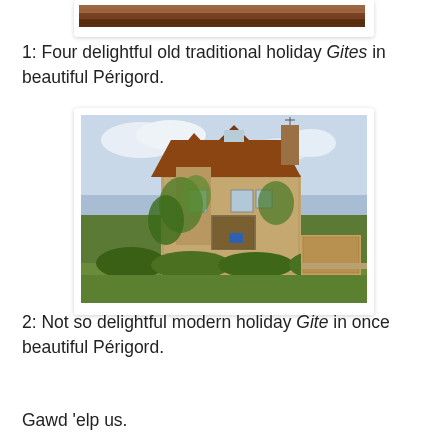[Figure (photo): Top portion of a photo showing a dark/reddish-brown surface, possibly a roof or stone wall — partially cropped at top of page]
1: Four delightful old traditional holiday Gites in beautiful Périgord.
[Figure (photo): A charming old traditional stone house in Périgord, France, with a pointed turret, ivy-covered walls, terracotta tiled roof, dormer windows, surrounded by lush green garden and hedges under a cloudy sky]
2: Not so delightful modern holiday Gite in once beautiful Périgord.
Gawd 'elp us.